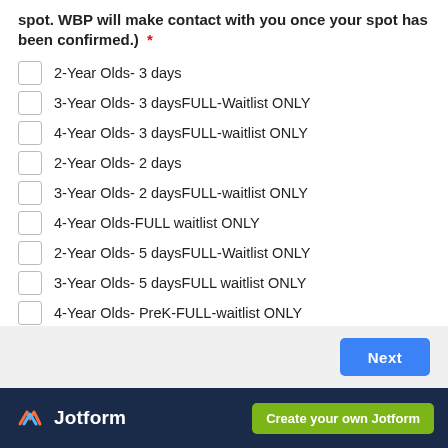spot. WBP will make contact with you once your spot has been confirmed.) *
2-Year Olds- 3 days
3-Year Olds- 3 daysFULL-Waitlist ONLY
4-Year Olds- 3 daysFULL-waitlist ONLY
2-Year Olds- 2 days
3-Year Olds- 2 daysFULL-waitlist ONLY
4-Year Olds-FULL waitlist ONLY
2-Year Olds- 5 daysFULL-Waitlist ONLY
3-Year Olds- 5 daysFULL waitlist ONLY
4-Year Olds- PreK-FULL-waitlist ONLY
Jotform  Create your own Jotform